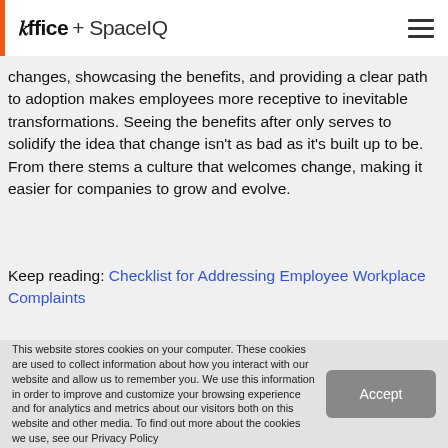ioffice + SpaceIQ
changes, showcasing the benefits, and providing a clear path to adoption makes employees more receptive to inevitable transformations. Seeing the benefits after only serves to solidify the idea that change isn't as bad as it's built up to be. From there stems a culture that welcomes change, making it easier for companies to grow and evolve.
Keep reading: Checklist for Addressing Employee Workplace Complaints
This website stores cookies on your computer. These cookies are used to collect information about how you interact with our website and allow us to remember you. We use this information in order to improve and customize your browsing experience and for analytics and metrics about our visitors both on this website and other media. To find out more about the cookies we use, see our Privacy Policy